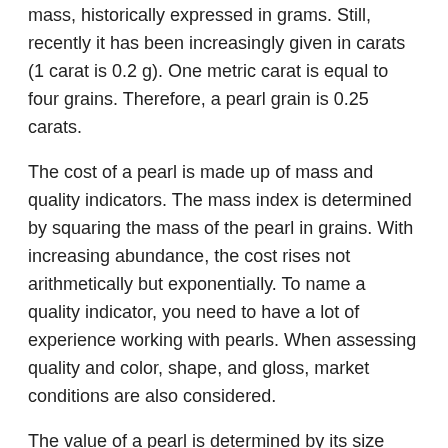mass, historically expressed in grams. Still, recently it has been increasingly given in carats (1 carat is 0.2 g). One metric carat is equal to four grains. Therefore, a pearl grain is 0.25 carats.
The cost of a pearl is made up of mass and quality indicators. The mass index is determined by squaring the mass of the pearl in grains. With increasing abundance, the cost rises not arithmetically but exponentially. To name a quality indicator, you need to have a lot of experience working with pearls. When assessing quality and color, shape, and gloss, market conditions are also considered.
The value of a pearl is determined by its size (mass), shape, color, luster, and surface quality. In the evaluation of color, white and subtle shades of pink are most quoted. As for the form, the ball, the correct pear-shaped, and the correct ellipsoid are especially appreciated.